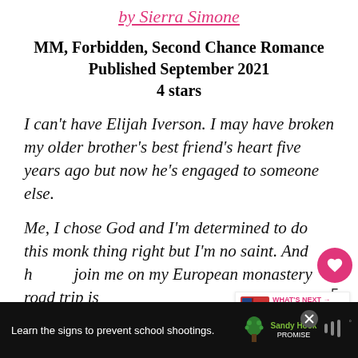by Sierra Simone
MM, Forbidden, Second Chance Romance
Published September 2021
4 stars
I can't have Elijah Iverson. I may have broken my older brother's best friend's heart five years ago but now he's engaged to someone else.
Me, I chose God and I'm determined to do this monk thing right but I'm no saint. And h... join me on my European monastery road trip is m...
[Figure (infographic): Sandy Hook Promise advertisement banner at bottom: 'Learn the signs to prevent school shootings.' with Sandy Hook Promise logo and tree graphic on dark background.]
[Figure (infographic): What's Next recommendation widget showing book thumbnail with text 'What to Read & What to...' and pink label 'WHAT'S NEXT'.]